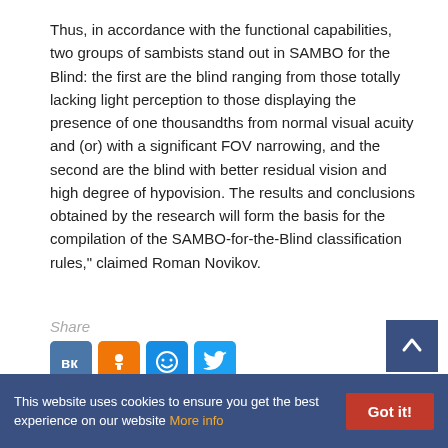Thus, in accordance with the functional capabilities, two groups of sambists stand out in SAMBO for the Blind: the first are the blind ranging from those totally lacking light perception to those displaying the presence of one thousandths from normal visual acuity and (or) with a significant FOV narrowing, and the second are the blind with better residual vision and high degree of hypovision. The results and conclusions obtained by the research will form the basis for the compilation of the SAMBO-for-the-Blind classification rules," claimed Roman Novikov.
Share
[Figure (other): Social share buttons: VK, OK, My World (smiley), Twitter]
This website uses cookies to ensure you get the best experience on our website More info